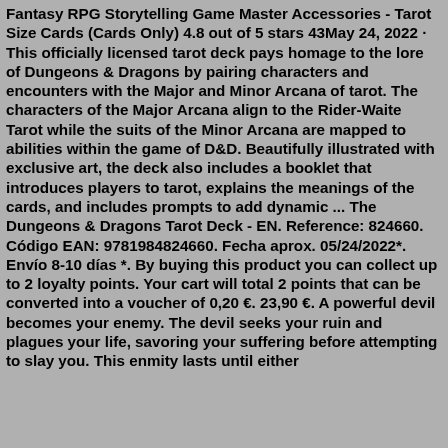Fantasy RPG Storytelling Game Master Accessories - Tarot Size Cards (Cards Only) 4.8 out of 5 stars 43May 24, 2022 · This officially licensed tarot deck pays homage to the lore of Dungeons & Dragons by pairing characters and encounters with the Major and Minor Arcana of tarot. The characters of the Major Arcana align to the Rider-Waite Tarot while the suits of the Minor Arcana are mapped to abilities within the game of D&D. Beautifully illustrated with exclusive art, the deck also includes a booklet that introduces players to tarot, explains the meanings of the cards, and includes prompts to add dynamic ... The Dungeons & Dragons Tarot Deck - EN. Reference: 824660. Código EAN: 9781984824660. Fecha aprox. 05/24/2022*. Envío 8-10 días *. By buying this product you can collect up to 2 loyalty points. Your cart will total 2 points that can be converted into a voucher of 0,20 €. 23,90 €. A powerful devil becomes your enemy. The devil seeks your ruin and plagues your life, savoring your suffering before attempting to slay you. This enmity lasts until either